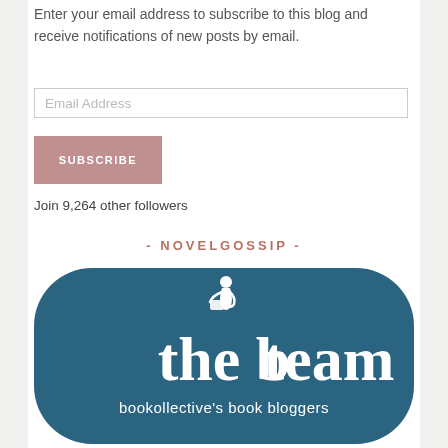Enter your email address to subscribe to this blog and receive notifications of new posts by email.
Email Address
SUBSCRIBE
Join 9,264 other followers
- NOVELGOSSIP -
[Figure (logo): The B Team logo — a rounded rectangle with teal/dark blue background, white text reading 'the b team' in large serif font with a small reading figure icon, and subtitle 'bookollective's book bloggers']